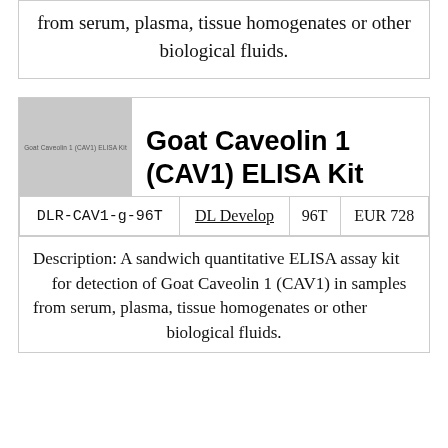from serum, plasma, tissue homogenates or other biological fluids.
[Figure (photo): Product image placeholder showing 'Goat Caveolin 1 (CAV1) ELISA Kit' label on grey background]
Goat Caveolin 1 (CAV1) ELISA Kit
| SKU | Supplier | Size | Price |
| --- | --- | --- | --- |
| DLR-CAV1-g-96T | DL Develop | 96T | EUR 728 |
Description: A sandwich quantitative ELISA assay kit for detection of Goat Caveolin 1 (CAV1) in samples from serum, plasma, tissue homogenates or other biological fluids.